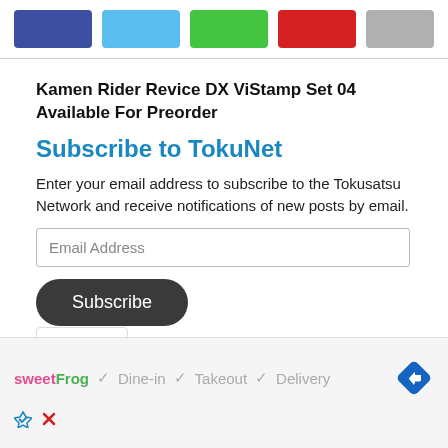[Figure (other): Row of five colored rectangular blocks: dark blue, light blue, green, red, gray]
Kamen Rider Revice DX ViStamp Set 04 Available For Preorder
Subscribe to TokuNet
Enter your email address to subscribe to the Tokusatsu Network and receive notifications of new posts by email.
[Figure (screenshot): Email Address input field, Subscribe button, and dropdown chevron widget]
[Figure (infographic): sweetFrog advertisement with checkmarks for Dine-in, Takeout, Delivery and navigation diamond icon]